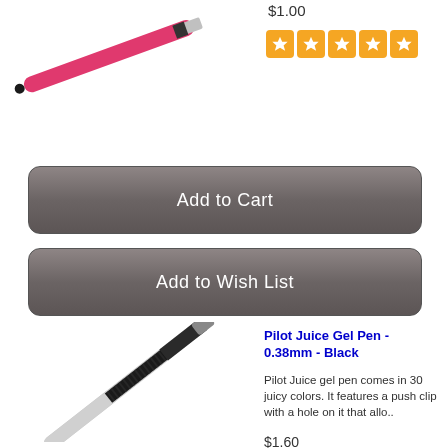[Figure (photo): Partial pink pen image at top-left, cropped]
$1.00
[Figure (other): 5 orange star rating boxes at top]
Add to Cart
Add to Wish List
[Figure (photo): Black Pilot Juice gel pen angled diagonally]
Pilot Juice Gel Pen - 0.38mm - Black
Pilot Juice gel pen comes in 30 juicy colors. It features a push clip with a hole on it that allo..
$1.60
[Figure (other): 5 orange star rating boxes at bottom]